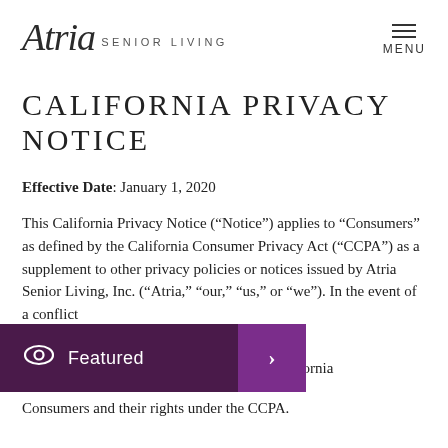Atria Senior Living — MENU
CALIFORNIA PRIVACY NOTICE
Effective Date: January 1, 2020
This California Privacy Notice (“Notice”) applies to “Consumers” as defined by the California Consumer Privacy Act (“CCPA”) as a supplement to other privacy policies or notices issued by Atria Senior Living, Inc. (“Atria,” “our,” “us,” or “we”). In the event of a conflict between this Notice and any other policy, statement, or notice issued by Atria, this Notice will prevail as to California Consumers and their rights under the CCPA.
[Figure (other): Featured overlay banner with eye icon and forward arrow button in purple]